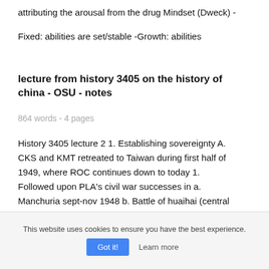attributing the arousal from the drug Mindset (Dweck) -
Fixed: abilities are set/stable -Growth: abilities
lecture from history 3405 on the history of china - OSU - notes
864 words - 4 pages
History 3405 lecture 2 1. Establishing sovereignty A. CKS and KMT retreated to Taiwan during first half of 1949, where ROC continues down to today 1. Followed upon PLA's civil war successes in a. Manchuria sept-nov 1948 b. Battle of huaihai (central
This website uses cookies to ensure you have the best experience.